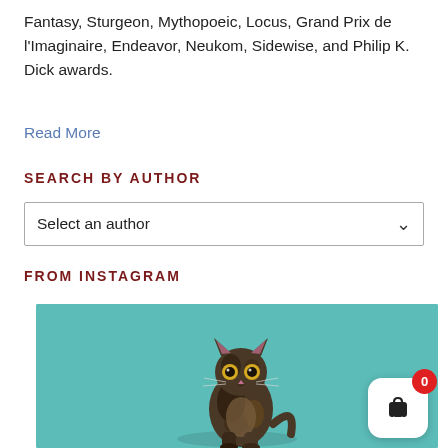Fantasy, Sturgeon, Mythopoeic, Locus, Grand Prix de l'Imaginaire, Endeavor, Neukom, Sidewise, and Philip K. Dick awards.
Read More
SEARCH BY AUTHOR
Select an author
FROM INSTAGRAM
[Figure (photo): A young tabby/tortoiseshell kitten sitting upright against a teal/turquoise background, looking at the camera with alert large eyes.]